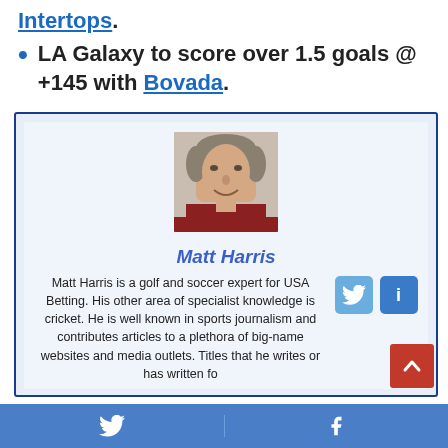Intertops.
LA Galaxy to score over 1.5 goals @ +145 with Bovada.
[Figure (photo): Headshot photo of Matt Harris, a middle-aged man with gray-brown hair, wearing a dark red shirt, smiling slightly against a plain background.]
Matt Harris
Matt Harris is a golf and soccer expert for USA Betting. His other area of specialist knowledge is cricket. He is well known in sports journalism and contributes articles to a plethora of big-name websites and media outlets. Titles that he writes or has written for...